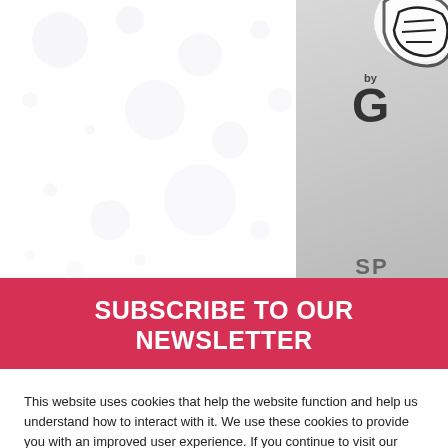[Figure (illustration): Website background area with scattered light grey bubble/circle decorative elements on white background, and a grey panel on the right side showing a partial logo graphic and the letters 'SP' at the bottom]
SUBSCRIBE TO OUR NEWSLETTER
This website uses cookies that help the website function and help us understand how to interact with it. We use these cookies to provide you with an improved user experience. If you continue to visit our website, we assume you are OK with it. Read More
Cookie settings
Got It!